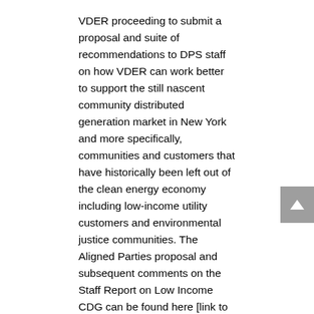VDER proceeding to submit a proposal and suite of recommendations to DPS staff on how VDER can work better to support the still nascent community distributed generation market in New York and more specifically, communities and customers that have historically been left out of the clean energy economy including low-income utility customers and environmental justice communities. The Aligned Parties proposal and subsequent comments on the Staff Report on Low Income CDG can be found here [link to the two filings on the docket]
The VDER proceeding is one of the most significant policy processes being undertaken by New York State with respect to impacts on our goals and mandates around renewable energy generation and climate emissions. The shift from